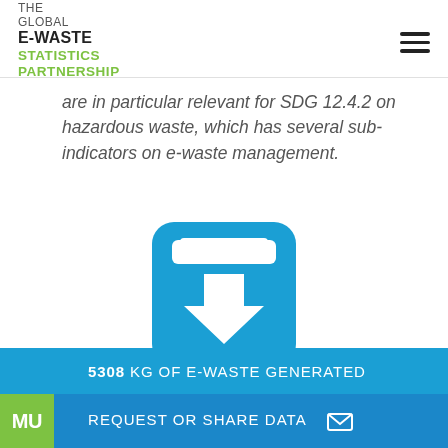THE GLOBAL E-WASTE STATISTICS PARTNERSHIP
are in particular relevant for SDG 12.4.2 on hazardous waste, which has several sub-indicators on e-waste management.
[Figure (illustration): Blue rounded square icon with a white downward-pointing arrow/download symbol inside]
E-waste Statistics Tool
5308 KG OF E-WASTE GENERATED
REQUEST OR SHARE DATA